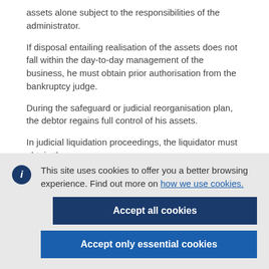assets alone subject to the responsibilities of the administrator.
If disposal entailing realisation of the assets does not fall within the day-to-day management of the business, he must obtain prior authorisation from the bankruptcy judge.
During the safeguard or judicial reorganisation plan, the debtor regains full control of his assets.
In judicial liquidation proceedings, the liquidator must obtain the
This site uses cookies to offer you a better browsing experience. Find out more on how we use cookies.
Accept all cookies
Accept only essential cookies